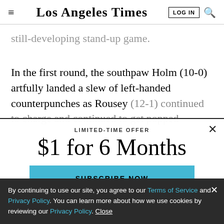Los Angeles Times
still-developing stand-up game.
In the first round, the southpaw Holm (10-0) artfully landed a slew of left-handed counterpunches as Rousey (12-1) continued to charge and continued to get popped
LIMITED-TIME OFFER
$1 for 6 Months
SUBSCRIBE NOW
By continuing to use our site, you agree to our Terms of Service and Privacy Policy. You can learn more about how we use cookies by reviewing our Privacy Policy. Close